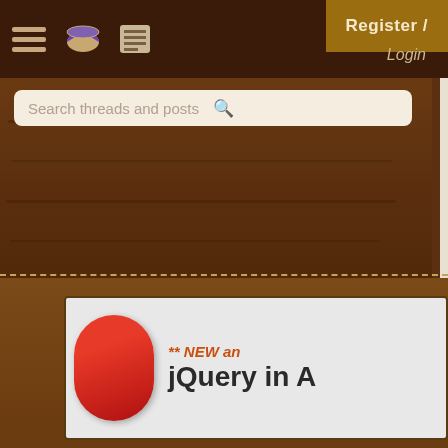Navigation bar with hamburger menu, pie icon, list icon, and Register/Login
Search threads and posts
19 replies
SCJP exam voucher for s... | 1 reply
Student discounted SCJP... | 65 replies [1, 2]
Is Programmer 5.0 Beta ... | 10 replies
[Figure (screenshot): Advertisement banner showing a red pill and text '** NEW an... jQuery in A...']